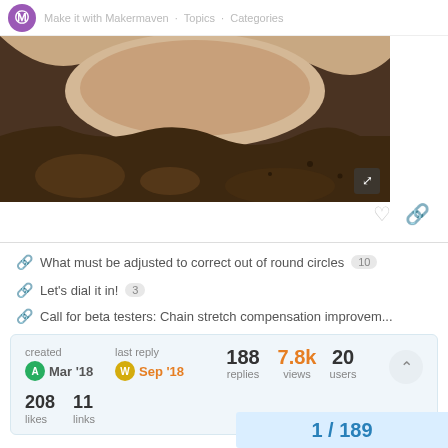Makermaven forum header
[Figure (photo): Close-up photo of a brown material (possibly clay or resin) with a circular cutout showing light wood underneath, illustrating an out-of-round circle result from a CNC or laser cutter.]
What must be adjusted to correct out of round circles  10
Let's dial it in!  3
Call for beta testers: Chain stretch compensation improvem...
| created | last reply | 188 replies | 7.8k views | 20 users |
| --- | --- | --- | --- | --- |
| Mar '18 | Sep '18 |  |  |  |
| 208 likes | 11 links |  |  |  |
1 / 189